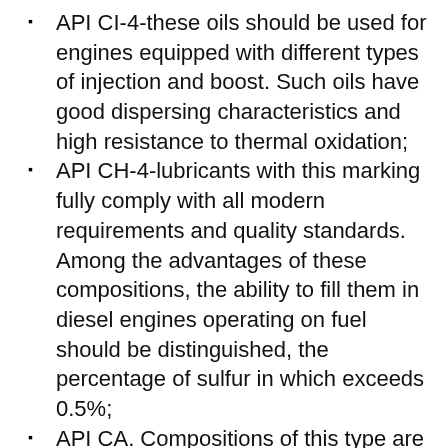API CI-4-these oils should be used for engines equipped with different types of injection and boost. Such oils have good dispersing characteristics and high resistance to thermal oxidation;
API CH-4-lubricants with this marking fully comply with all modern requirements and quality standards. Among the advantages of these compositions, the ability to fill them in diesel engines operating on fuel should be distinguished, the percentage of sulfur in which exceeds 0.5%;
API CA. Compositions of this type are optimally suitable in cases where diesel fuel contains a small amount of sulfur. Oils with